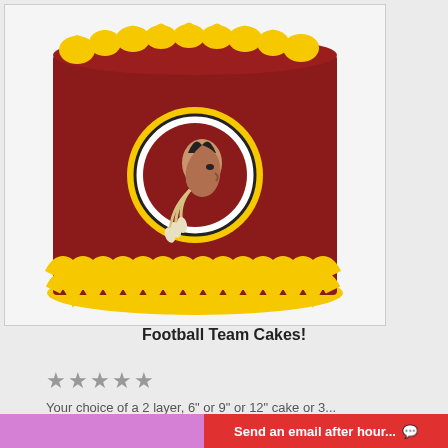[Figure (photo): A round layered cake decorated with yellow frosting rosettes on top and bottom border, covered in dark red fondant with a circular team logo on the side featuring a Native American profile silhouette with feathers, set against a white background.]
Football Team Cakes!
★★★★★
Your choice of a 2 layer, 6" or 9" or 12" cake or 3...
$55.00 – $200.00
Send an email after hour...